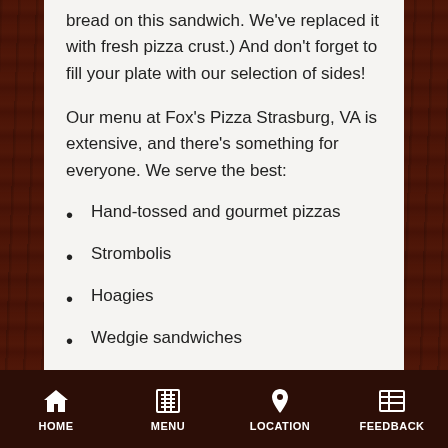bread on this sandwich. We've replaced it with fresh pizza crust.) And don't forget to fill your plate with our selection of sides!
Our menu at Fox's Pizza Strasburg, VA is extensive, and there's something for everyone. We serve the best:
Hand-tossed and gourmet pizzas
Strombolis
Hoagies
Wedgie sandwiches
Wings and appetizers
Salads
HOME  MENU  LOCATION  FEEDBACK